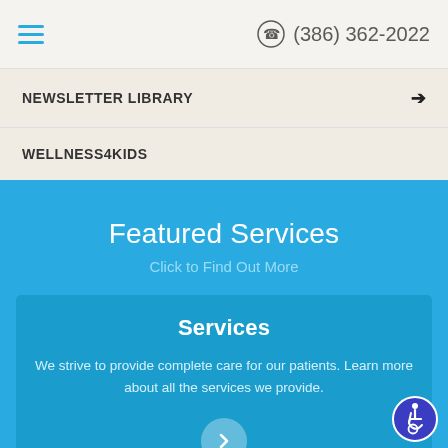(386) 362-2022
NEWSLETTER LIBRARY
WELLNESS4KIDS
Featured Services
Click to Find Out More
Services
We strive to provide complete care for our patients. Learn more about all the services we provide.
[Figure (other): Accessibility icon — wheelchair symbol in a blue circle with white border]